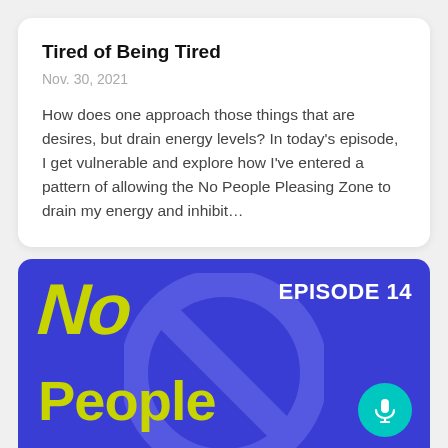Tired of Being Tired
Nov. 30, 2021
How does one approach those things that are desires, but drain energy levels? In today's episode, I get vulnerable and explore how I've entered a pattern of allowing the No People Pleasing Zone to drain my energy and inhibit…
[Figure (illustration): Podcast episode artwork for 'No People Pleasing Zone' Episode 14. Blue background with 'No' in large yellow italic graffiti lettering top left, 'People' in large bold yellow text bottom left, 'EPISODE 14' in white bold text top right, a large faint dark-blue no-entry circle symbol in the background center, and a teal circular microphone icon button at bottom right.]